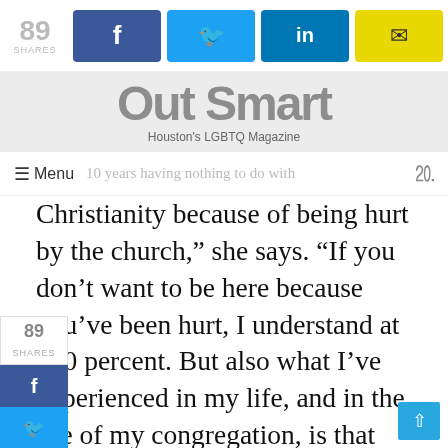89 SHARES | Facebook | Twitter | LinkedIn | Email
[Figure (logo): Out Smart - Houston's LGBTQ Magazine logo]
Menu | ...10 years having nothing to do with
Christianity because of being hurt by the church,” she says. “If you don’t want to be here because you’ve been hurt, I understand at 100 percent. But also what I’ve experienced in my life, and in the life of my congregation, is that sometimes our healing happens very close to the place where the hurt came from. People have felt healed from the hurt [that a church caused] by being in a church where they don’t have to check part of themselves at the door—where what’s really